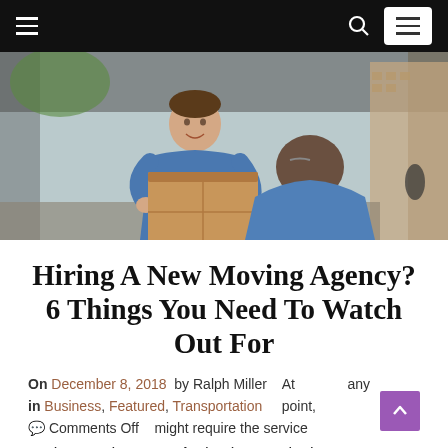Navigation bar with hamburger menu, search icon, and menu box
[Figure (photo): Two movers in blue uniforms handling a large cardboard box at the back of a moving truck. One mover is inside the truck, the other is outside receiving the box.]
Hiring A New Moving Agency? 6 Things You Need To Watch Out For
On December 8, 2018  by Ralph Miller   At          any
in Business, Featured, Transportation    point,
💬 Comments Off    might require the services of
pacers and movers. And to be certain that